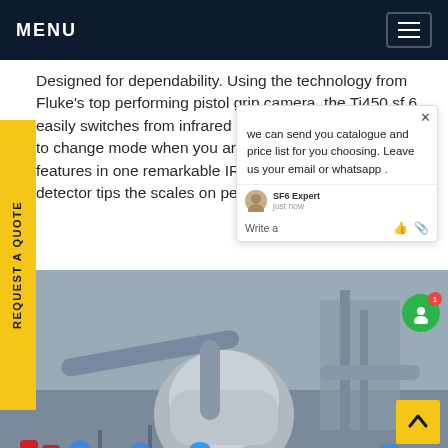MENU
Designed for dependability. Using the technology from Fluke's top performing pistol grip camera, the Ti450 sf 6 easily switches from infrared to gas mode. Making it easy to change mode when you are in the field. Two critical features in one remarkable IR camera. The Ti450 sf detector tips the scales on performance and price
REQUEST A QUOTE
[Figure (photo): Industrial workers in blue hard hats and coveralls working around large gas/electrical equipment at a substation or industrial plant.]
we can send you catalogue and price list for you choosing. Leave us your email or whatsapp .
SF6 Expert  just now
Write a